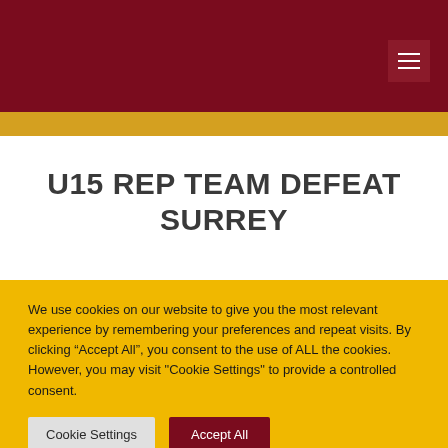U15 REP TEAM DEFEAT SURREY
We use cookies on our website to give you the most relevant experience by remembering your preferences and repeat visits. By clicking “Accept All”, you consent to the use of ALL the cookies. However, you may visit "Cookie Settings" to provide a controlled consent.
Cookie Settings | Accept All